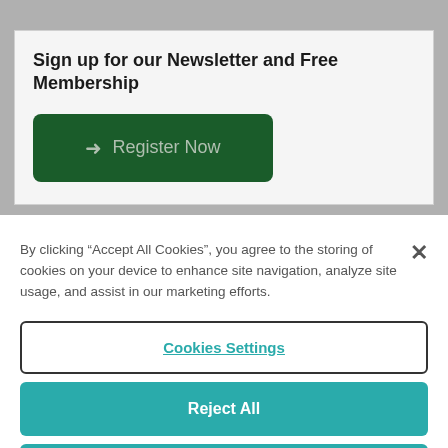Sign up for our Newsletter and Free Membership
Register Now
By clicking “Accept All Cookies”, you agree to the storing of cookies on your device to enhance site navigation, analyze site usage, and assist in our marketing efforts.
Cookies Settings
Reject All
Accept All Cookies